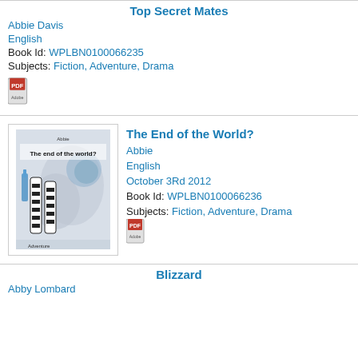Top Secret Mates
Abbie Davis
English
Book Id: WPLBN0100066235
Subjects: Fiction, Adventure, Drama
[Figure (illustration): PDF icon]
The End of the World?
[Figure (illustration): Book cover for 'The end of the world?' showing zebra-striped figures and abstract background, labeled Adventure]
Abbie
English
October 3Rd 2012
Book Id: WPLBN0100066236
Subjects: Fiction, Adventure, Drama
[Figure (illustration): PDF icon]
Blizzard
Abby Lombard